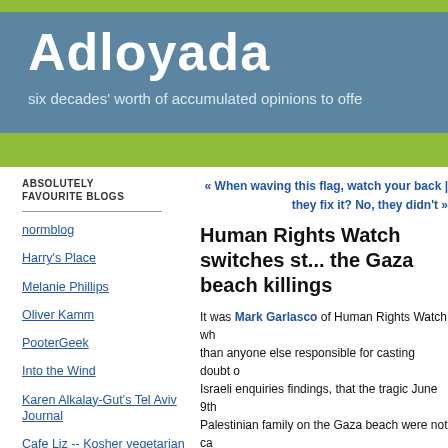Adloyada — six decades' worth of accumulated opinions to offe...
ABSOLUTELY FAVOURITE BLOGS
normblog
Harry's Place
Melanie Phillips
Oliver Kamm
PooterGeek
Into the Wind
Karen Alkalay-Gut's Tel Aviv Journal
Cafe Liz -- Kosher vegetarian recipes from my kitchen in Tel Aviv
« When waving this flag, watch your back | they fix it? No, they didn't »
Human Rights Watch switches st... the Gaza beach killings
It was Mark Garlasco of Human Rights Watch wh... than anyone else responsible for casting doubt o... Israeli enquiries findings, that the tragic June 9th ... Palestinian family on the Gaza beach were not ca... shelling they had done earlier.
Garlasco's account was enthusiastically promo... British press, notably by Chris McGreal of The G... uncritically reported Garlasco's assertions as rece... Saturday 17th June in an article subheaded Gu...